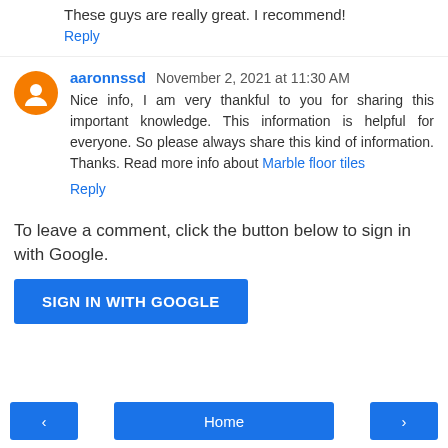These guys are really great. I recommend!
Reply
aaronnssd November 2, 2021 at 11:30 AM
Nice info, I am very thankful to you for sharing this important knowledge. This information is helpful for everyone. So please always share this kind of information. Thanks. Read more info about Marble floor tiles
Reply
To leave a comment, click the button below to sign in with Google.
SIGN IN WITH GOOGLE
< Home >